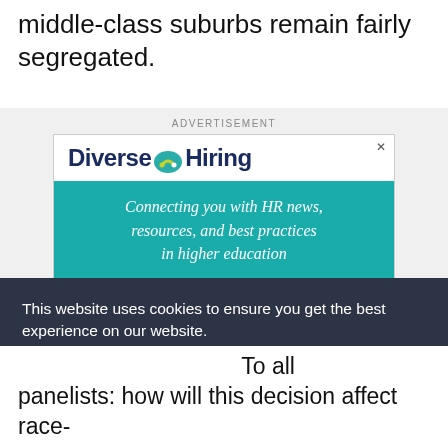middle-class suburbs remain fairly segregated.
[Figure (screenshot): Advertisement banner for 'Diverse Hiring' with teal and dark blue branding. Header shows 'Diverse Hiring' logo with handshake icon. Body in teal reads 'Connecting you with HR news, resources, and best practices in higher education']
This website uses cookies to ensure you get the best experience on our website.
Learn more
Got it!
To all panelists: how will this decision affect race-